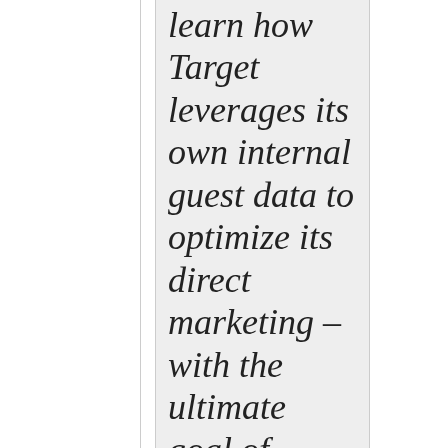learn how Target leverages its own internal guest data to optimize its direct marketing – with the ultimate goal of enhancing our